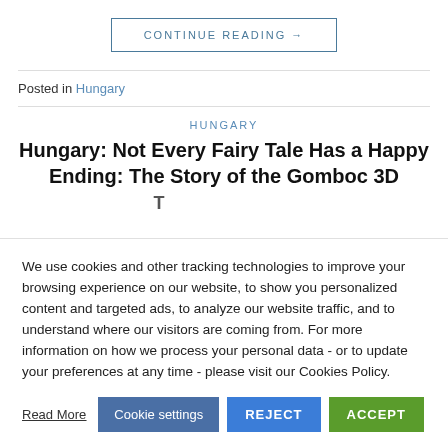CONTINUE READING →
Posted in Hungary
HUNGARY
Hungary: Not Every Fairy Tale Has a Happy Ending: The Story of the Gomboc 3D
We use cookies and other tracking technologies to improve your browsing experience on our website, to show you personalized content and targeted ads, to analyze our website traffic, and to understand where our visitors are coming from. For more information on how we process your personal data - or to update your preferences at any time - please visit our Cookies Policy.
Read More  Cookie settings  REJECT  ACCEPT